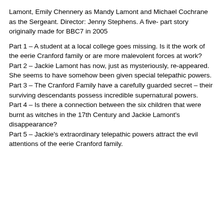Lamont, Emily Chennery as Mandy Lamont and Michael Cochrane as the Sergeant. Director: Jenny Stephens. A five- part story originally made for BBC7 in 2005
Part 1 – A student at a local college goes missing. Is it the work of the eerie Cranford family or are more malevolent forces at work?
Part 2 – Jackie Lamont has now, just as mysteriously, re-appeared. She seems to have somehow been given special telepathic powers.
Part 3 – The Cranford Family have a carefully guarded secret – their surviving descendants possess incredible supernatural powers.
Part 4 – Is there a connection between the six children that were burnt as witches in the 17th Century and Jackie Lamont's disappearance?
Part 5 – Jackie's extraordinary telepathic powers attract the evil attentions of the eerie Cranford family.